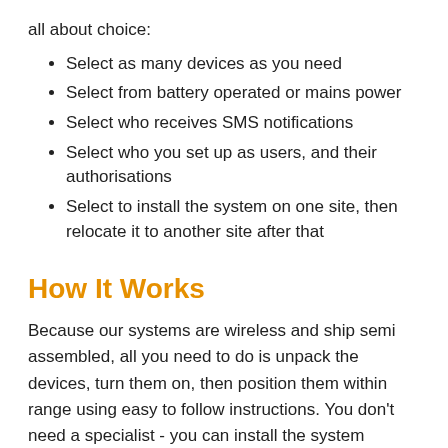all about choice:
Select as many devices as you need
Select from battery operated or mains power
Select who receives SMS notifications
Select who you set up as users, and their authorisations
Select to install the system on one site, then relocate it to another site after that
How It Works
Because our systems are wireless and ship semi assembled, all you need to do is unpack the devices, turn them on, then position them within range using easy to follow instructions. You don't need a specialist - you can install the system yourself in < two hours (depending on the size of the system). Our technicians are available to